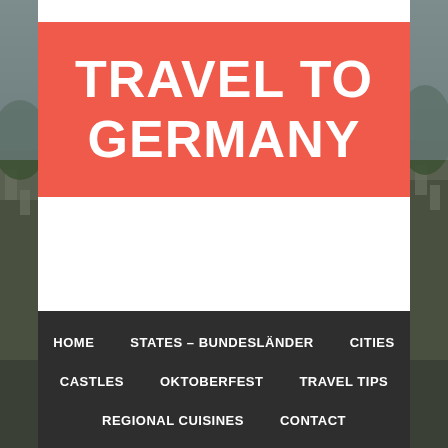[Figure (photo): Background photo of a German city/town with historic buildings, used as decorative background behind the white center panel]
TRAVEL TO GERMANY
HOME   STATES – BUNDESLÄNDER   CITIES   CASTLES   OKTOBERFEST   TRAVEL TIPS   REGIONAL CUISINES   CONTACT